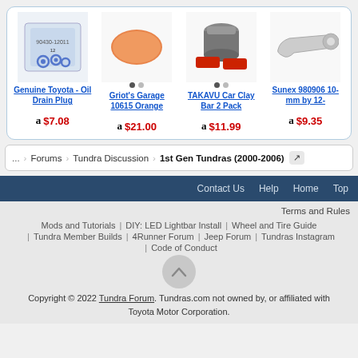[Figure (screenshot): Product listing cards with images, titles, and prices for 4 Amazon products]
Genuine Toyota - Oil Drain Plug  $7.08
Griot's Garage 10615 Orange  $21.00
TAKAVU Car Clay Bar 2 Pack  $11.99
Sunex 980906 10-mm by 12-  $9.35
... › Forums › Tundra Discussion › 1st Gen Tundras (2000-2006)
Contact Us  Help  Home  Top
Terms and Rules
Mods and Tutorials | DIY: LED Lightbar Install | Wheel and Tire Guide
Tundra Member Builds | 4Runner Forum | Jeep Forum | Tundras Instagram
| Code of Conduct
Copyright © 2022 Tundra Forum. Tundras.com not owned by, or affiliated with Toyota Motor Corporation.